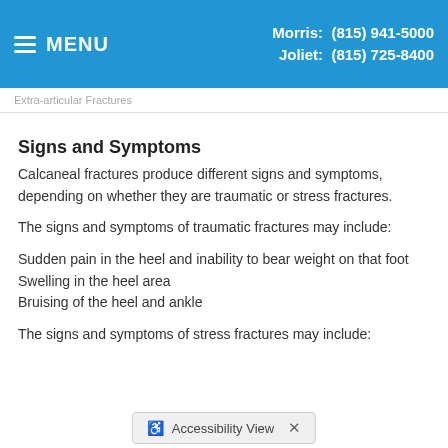MENU | Morris: (815) 941-5000 | Joliet: (815) 725-8400
Extra-articular Fractures
Signs and Symptoms
Calcaneal fractures produce different signs and symptoms, depending on whether they are traumatic or stress fractures.
The signs and symptoms of traumatic fractures may include:
Sudden pain in the heel and inability to bear weight on that foot
Swelling in the heel area
Bruising of the heel and ankle
The signs and symptoms of stress fractures may include: